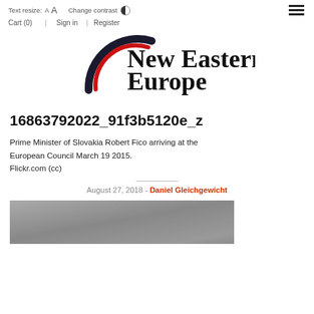Text resize: A A   Change contrast   Cart (0)   Sign in   |   Register
[Figure (logo): New Eastern Europe logo — stylized arc in black and red with text 'New Eastern Europe']
16863792022_91f3b5120e_z
Prime Minister of Slovakia Robert Fico arriving at the European Council March 19 2015.
Flickr.com (cc)
August 27, 2018 - Daniel Gleichgewicht
[Figure (photo): Photo of a person (Robert Fico) arriving at a location, partially visible at bottom of page]